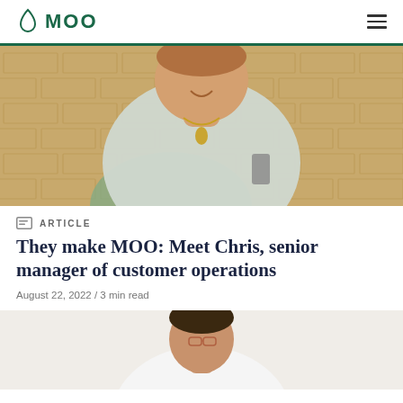MOO
[Figure (photo): A young man with short hair laughing, wearing a light grey t-shirt and gold chain necklace, sitting in a green chair against an exposed brick wall background, holding a phone.]
ARTICLE
They make MOO: Meet Chris, senior manager of customer operations
August 22, 2022 / 3 min read
[Figure (photo): A man with dark hair and glasses, wearing a white shirt, photographed from the chest up against a light background.]